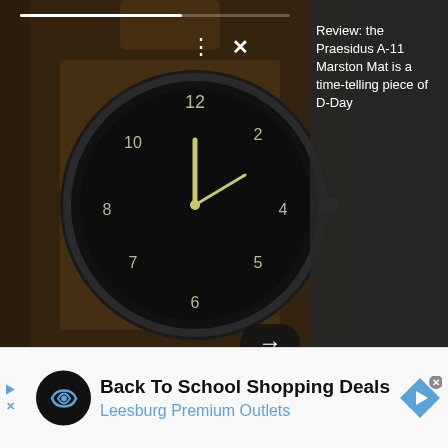[Figure (photo): Dark military watch with black face and leather strap, photo background for article preview]
Review: the Praesidus A-11 Marston Mat is a time-telling piece of D-Day
[Figure (photo): Military helmet light system (Sidewinder Stalk) mounted on a helmet, advertisement image]
SIDEWINDER STALK™
MILITARY HELMET LIGHT SYSTEM
WITH FLEXIBLE STALK
[Figure (infographic): Back To School Shopping Deals advertisement for Leesburg Premium Outlets with logo icons]